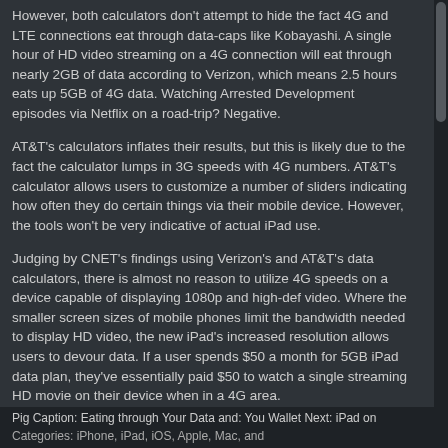However, both calculators don't attempt to hide the fact 4G and LTE connections eat through data-caps like Kobayashi. A single hour of HD video streaming on a 4G connection will eat through nearly 2GB of data according to Verizon, which means 2.5 hours eats up 5GB of 4G data. Watching Arrested Development episodes via Netflix on a road-trip? Negative.
AT&T's calculators inflates their results, but this is likely due to the fact the calculator lumps in 3G speeds with 4G numbers. AT&T's calculator allows users to customize a number of sliders indicating how often they do certain things via their mobile device. However, the tools won't be very indicative of actual iPad use.
Judging by CNET's findings using Verizon's and AT&T's data calculators, there is almost no reason to utilize 4G speeds on a device capable of displaying 1080p and high-def video. Where the smaller screen sizes of mobile phones limit the bandwidth needed to display HD video, the new iPad's increased resolution allows users to devour data. If a user spends $50 a month for 5GB iPad data plan, they've essentially paid $50 to watch a single streaming HD movie on their device when in a 4G area.
Of course, customers could only use their 4G LTE iPad on Wi-Fi home networks and hot-spots. But, then again that defeats the purpose of having true 4G mobile Internet. Even worse, the ability to use the iPad as a 4G hot-spot becomes even less economical.
Unlimited data plans need to come back, and fast.
Source: CNET
This article: Eating through Your Data and: You Wallet Next: iPad on
Categories: iPhone, iPad, iOS, Apple, Mac, and
Pig Caption: Eating through Your Data and: You Wallet Next: iPad on
Categories: iPhone, iPad, iOS, Apple, Mac, and